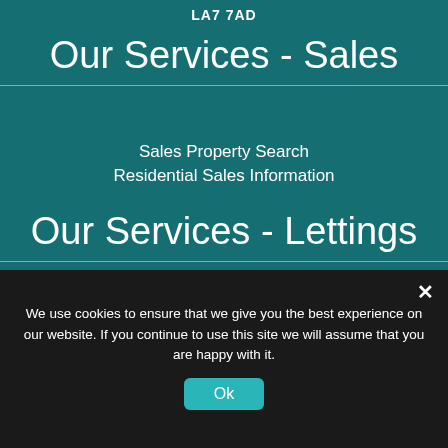LA7 7AD
Our Services - Sales
Sales Property Search
Residential Sales Information
Our Services - Lettings
Lettings Property Search
Residential Lettings Information
© 2022 Copyright Waterhouse Estate Agents. Powered by Dezrez Estate Agent Software
We use cookies to ensure that we give you the best experience on our website. If you continue to use this site we will assume that you are happy with it.